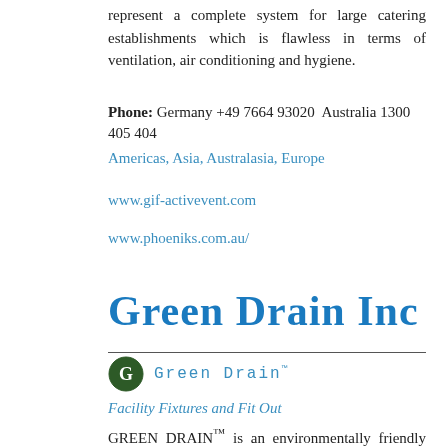represent a complete system for large catering establishments which is flawless in terms of ventilation, air conditioning and hygiene.
Phone: Germany +49 7664 93020 Australia 1300 405 404
Americas, Asia, Australasia, Europe
www.gif-activevent.com
www.phoeniks.com.au/
Green Drain Inc
[Figure (logo): Green Drain logo: dark green circle with white G, followed by 'Green Drain' in spaced teal monospace text with trademark symbol]
Facility Fixtures and Fit Out
GREEN DRAIN™ is an environmentally friendly water free trap seal, which can be installed in basically all floor drains without the use of tools and allows the flow